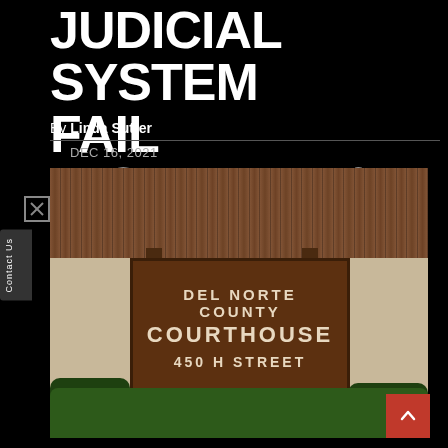JUDICIAL SYSTEM FAIL MISERABLY?
By Linda Sutter
DEC 16, 2021
[Figure (photo): Del Norte County Courthouse sign at 450 H Street, brown wooden sign with corrugated metal roof building in background and green shrubs]
Contact Us